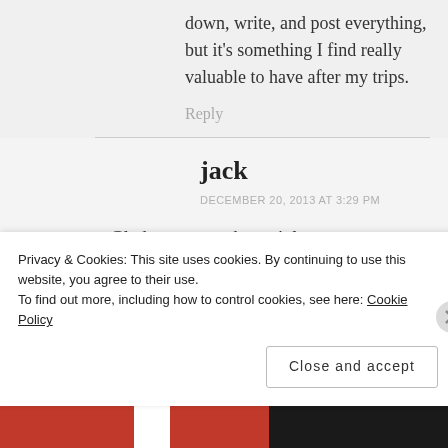down, write, and post everything, but it’s something I find really valuable to have after my trips.
Reply
jack
DECEMBER 20, 2013 AT 3:29 PM
Glad to see you haven’t lost your
Privacy & Cookies: This site uses cookies. By continuing to use this website, you agree to their use. To find out more, including how to control cookies, see here: Cookie Policy
Close and accept